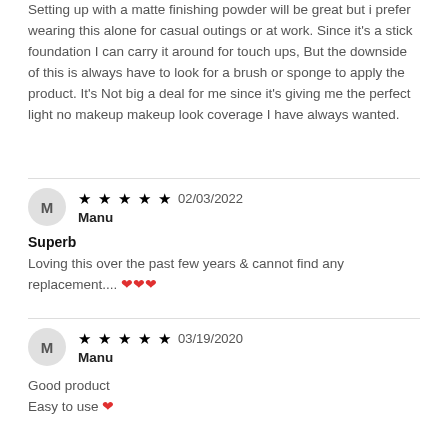Setting up with a matte finishing powder will be great but i prefer wearing this alone for casual outings or at work. Since it's a stick foundation I can carry it around for touch ups, But the downside of this is always have to look for a brush or sponge to apply the product. It's Not big a deal for me since it's giving me the perfect light no makeup makeup look coverage I have always wanted.
★★★★★ 02/03/2022
Manu
Superb
Loving this over the past few years & cannot find any replacement.... ❤❤❤
★★★★★ 03/19/2020
Manu
Good product
Easy to use ❤